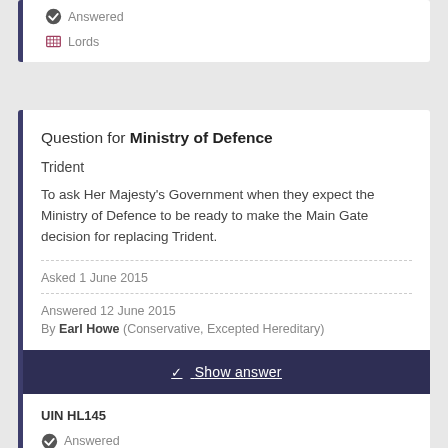Answered
Lords
Question for Ministry of Defence
Trident
To ask Her Majesty's Government when they expect the Ministry of Defence to be ready to make the Main Gate decision for replacing Trident.
Asked 1 June 2015
Answered 12 June 2015
By Earl Howe (Conservative, Excepted Hereditary)
Show answer
UIN HL145
Answered
Lords